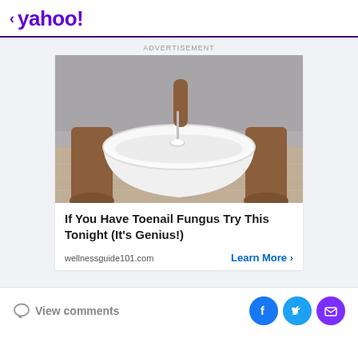< yahoo!
ADVERTISEMENT
[Figure (photo): Person's bare feet on floor beside a large white bowl, hand holding a spoon with white powder over the bowl]
If You Have Toenail Fungus Try This Tonight (It's Genius!)
wellnessguide101.com
Learn More >
View comments
[Figure (infographic): Social sharing icons: Facebook (blue circle), Twitter (light blue circle), Email (purple circle)]